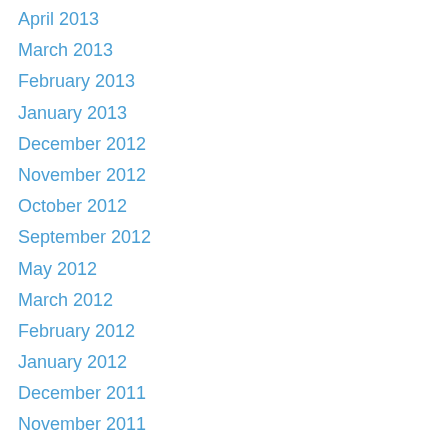April 2013
March 2013
February 2013
January 2013
December 2012
November 2012
October 2012
September 2012
May 2012
March 2012
February 2012
January 2012
December 2011
November 2011
October 2011
September 2011
June 2011
February 2011
November 2010
October 2010